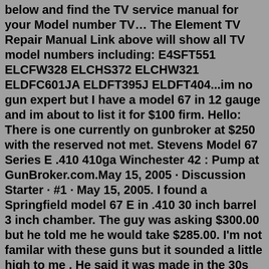below and find the TV service manual for your Model number TV… The Element TV Repair Manual Link above will show all TV model numbers including: E4SFT551 ELCFW328 ELCHS372 ELCHW321 ELDFC601JA ELDFT395J ELDFT404...im no gun expert but I have a model 67 in 12 gauge and im about to list it for $100 firm. Hello: There is one currently on gunbroker at $250 with the reserved not met. Stevens Model 67 Series E .410 410ga Winchester 42 : Pump at GunBroker.com.May 15, 2005 · Discussion Starter · #1 · May 15, 2005. I found a Springfield model 67 E in .410 30 inch barrel 3 inch chamber. The guy was asking $300.00 but he told me he would take $285.00. I'm not familar with these guns but it sounded a little high to me . He said it was made in the 30s and it booked for around $450.00 . Stevens Shotguns - 301, 320, and 555 With a variety of configurations, styles, and options to choose from, a Stevens shotgun is up for any task! From home security to the turkey woods and trap field, Stevens shotguns boast hard-hitting durability without